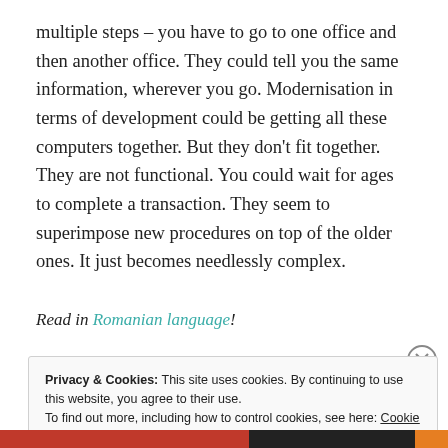multiple steps – you have to go to one office and then another office. They could tell you the same information, wherever you go. Modernisation in terms of development could be getting all these computers together. But they don't fit together. They are not functional. You could wait for ages to complete a transaction. They seem to superimpose new procedures on top of the older ones. It just becomes needlessly complex.
Read in Romanian language!
Privacy & Cookies: This site uses cookies. By continuing to use this website, you agree to their use.
To find out more, including how to control cookies, see here: Cookie Policy

Close and accept